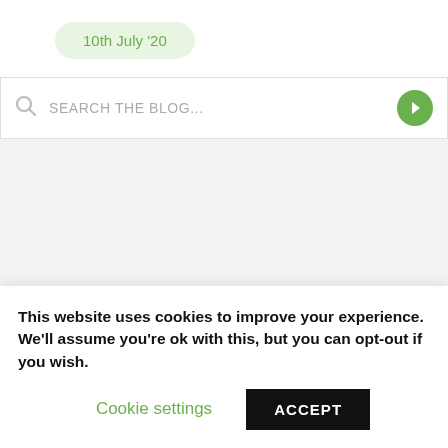10th July '20
SEARCH THE BLOG...
Copyright © Visit Visa Guide. 2022 • All rights reserved.
This website uses cookies to improve your experience. We'll assume you're ok with this, but you can opt-out if you wish.
Cookie settings
ACCEPT